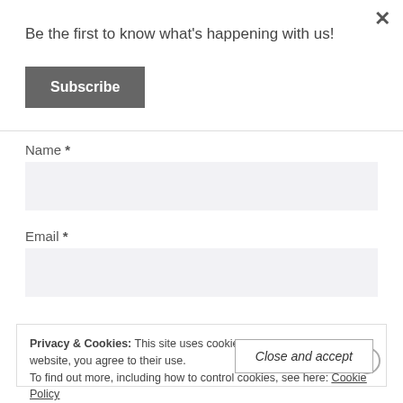Be the first to know what's happening with us!
Subscribe
Name *
Email *
Privacy & Cookies: This site uses cookies. By continuing to use this website, you agree to their use.
To find out more, including how to control cookies, see here: Cookie Policy
Close and accept